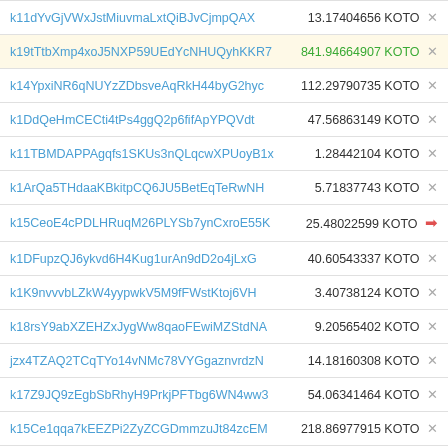| Address | Amount |
| --- | --- |
| k11dYvGjVWxJstMiuvmaLxtQiBJvCjmpQAX | 13.17404656 KOTO × |
| k19tTtbXmp4xoJ5NXP59UEdYcNHUQyhKKR7 | 841.94664907 KOTO × |
| k14YpxiNR6qNUYzZDbsveAqRkH44byG2hyc | 112.29790735 KOTO × |
| k1DdQeHmCECti4tPs4ggQ2p6fifApYPQVdt | 47.56863149 KOTO × |
| k11TBMDAPPAgqfs1SKUs3nQLqcwXPUoyB1x | 1.28442104 KOTO × |
| k1ArQa5THdaaKBkitpCQ6JU5BetEqTeRwNH | 5.71837743 KOTO × |
| k15CeoE4cPDLHRuqM26PLYSb7ynCxroE55K | 25.48022599 KOTO → |
| k1DFupzQJ6ykvd6H4Kug1urAn9dD2o4jLxG | 40.60543337 KOTO × |
| k1K9nvvvbLZkW4yypwkV5M9fFWstKtoj6VH | 3.40738124 KOTO × |
| k18rsY9abXZEHZxJygWw8qaoFEwiMZStdNA | 9.20565402 KOTO × |
| jzx4TZAQ2TCqTYo14vNMc78VYGgaznvrdzN | 14.18160308 KOTO × |
| k17Z9JQ9zEgbSbRhyH9PrkjPFTbg6WN4ww3 | 54.06341464 KOTO × |
| k15Ce1qqa7kEEZPi2ZyZCGDmmzuJt84zcEM | 218.86977915 KOTO × |
| k1AdSU29hFfh1Djvjvcp78nLKx98C9LEhMk | 17.16759336 KOTO × |
| k18AVNmv5UYabvcG6ETJNitaW1Wq9t2LXd8 | 992.46143841 KOTO × |